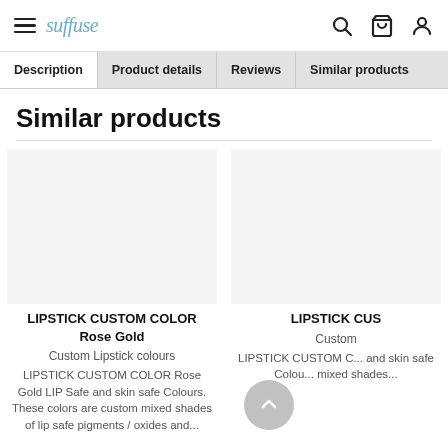Suffuse — navigation header with hamburger menu, logo, search, cart, and account icons
Description | Product details | Reviews | Similar products
Similar products
LIPSTICK CUSTOM COLOR Rose Gold
Custom Lipstick colours
LIPSTICK CUSTOM COLOR Rose Gold LIP Safe and skin safe Colours. These colors are custom mixed shades of lip safe pigments / oxides and...
LIPSTICK CUS...
Custom
LIPSTICK CUSTOM C... and skin safe Colou... mixed shades...